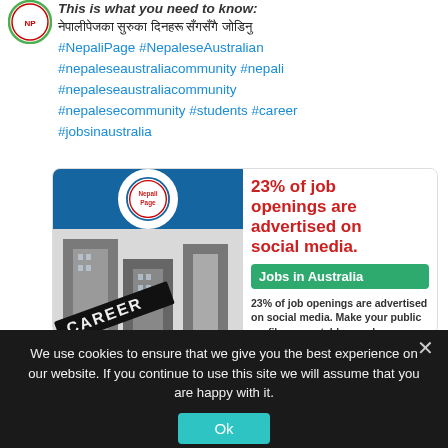This is what you need to know:
नेपालीपेजका सुरुका दिनहरू सँगसँगै जोडिनु
#NepaliPage #NepaleseAustralian #nepaleseaustraliacommunity #nepali #nepaleseaustraliacommunity #nepalesecommunity #students #career #jobsinaustralia
[Figure (infographic): Infographic card showing a photo of a building with a CAREER sign on the left, NepaliPage logo at top, and text on the right: '23% of job openings are advertised on social media.' with a green 'Jobs in Australia' button and description text below.]
We use cookies to ensure that we give you the best experience on our website. If you continue to use this site we will assume that you are happy with it.
Ok